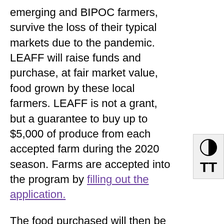emerging and BIPOC farmers, survive the loss of their typical markets due to the pandemic. LEAFF will raise funds and purchase, at fair market value, food grown by these local farmers. LEAFF is not a grant, but a guarantee to buy up to $5,000 of produce from each accepted farm during the 2020 season. Farms are accepted into the program by filling out the application.
The food purchased will then be donated to food shelves and other hunger relief organizations striving to offer more fresh produce to their communities. Efforts will focus on areas that are designated food deserts and neighborhoods with a higher density of BIPOC residents, because unemployment rates and COVID-19 have